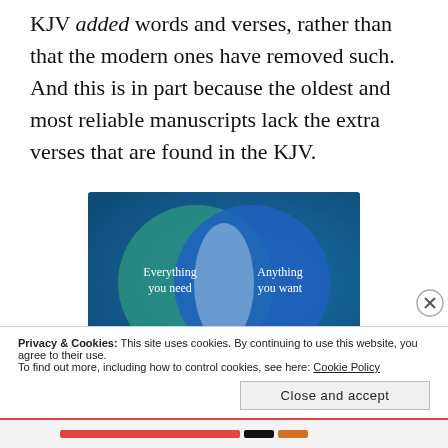KJV added words and verses, rather than that the modern ones have removed such. And this is in part because the oldest and most reliable manuscripts lack the extra verses that are found in the KJV.
[Figure (illustration): Venn diagram showing two overlapping circles on a blue-green gradient background. Left circle (teal) labeled 'Everything you need', right circle (blue) labeled 'Anything you want', with an overlapping center region in lighter blue.]
Privacy & Cookies: This site uses cookies. By continuing to use this website, you agree to their use.
To find out more, including how to control cookies, see here: Cookie Policy
Close and accept